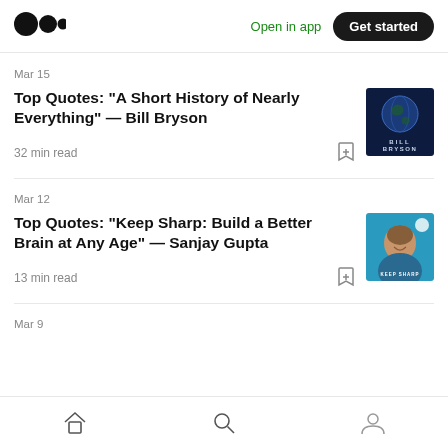Open in app | Get started
Mar 15
Top Quotes: “A Short History of Nearly Everything” — Bill Bryson
32 min read
[Figure (photo): Book cover: A Short History of Nearly Everything by Bill Bryson — dark blue cover with earth from space]
Mar 12
Top Quotes: “Keep Sharp: Build a Better Brain at Any Age” — Sanjay Gupta
13 min read
[Figure (photo): Book cover: Keep Sharp by Sanjay Gupta — teal cover with a smiling man]
Mar 9